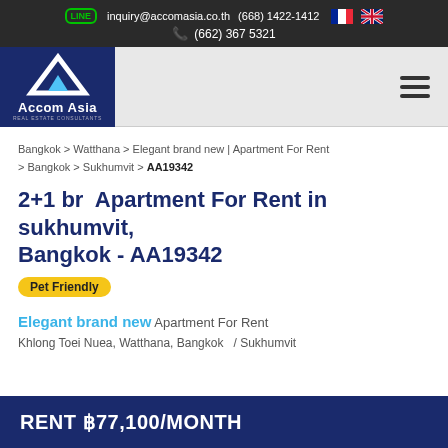inquiry@accomasia.co.th  (668) 1422-1412  (662) 367 5321
[Figure (logo): Accom Asia Real Estate Consultants logo — white triangle/chevron on dark navy background]
Bangkok > Watthana > Elegant brand new | Apartment For Rent > Bangkok > Sukhumvit > AA19342
2+1 br Apartment For Rent in sukhumvit, Bangkok - AA19342
Pet Friendly
Elegant brand new Apartment For Rent
Khlong Toei Nuea, Watthana, Bangkok  / Sukhumvit
RENT ฿77,100/MONTH